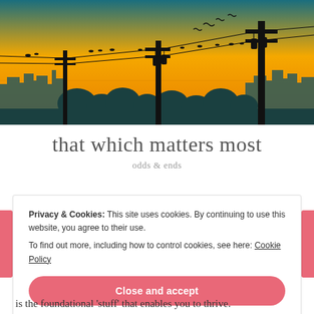[Figure (illustration): Cityscape silhouette at sunset with utility poles and power lines with birds sitting on them, orange and teal gradient sky background]
that which matters most
odds & ends
Privacy & Cookies: This site uses cookies. By continuing to use this website, you agree to their use.
To find out more, including how to control cookies, see here: Cookie Policy
Close and accept
is the foundational 'stuff' that enables you to thrive.